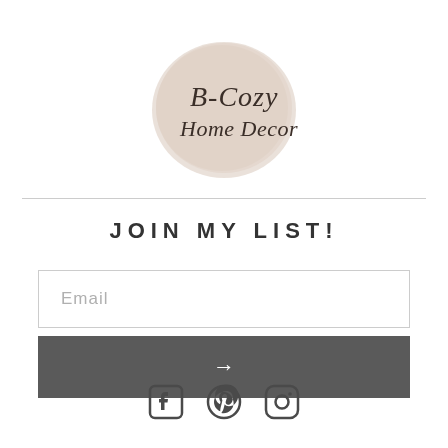[Figure (logo): B-Cozy Home Decor logo: script text on a beige/taupe watercolor circle background]
JOIN MY LIST!
[Figure (other): Email input field with placeholder text 'Email']
[Figure (other): Submit button (dark gray) with right arrow symbol]
[Figure (other): Social media icons: Facebook, Pinterest, Instagram]